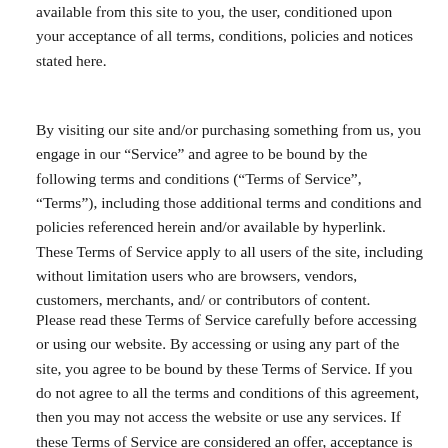available from this site to you, the user, conditioned upon your acceptance of all terms, conditions, policies and notices stated here.
By visiting our site and/or purchasing something from us, you engage in our “Service” and agree to be bound by the following terms and conditions (“Terms of Service”, “Terms”), including those additional terms and conditions and policies referenced herein and/or available by hyperlink. These Terms of Service apply to all users of the site, including without limitation users who are browsers, vendors, customers, merchants, and/ or contributors of content.
Please read these Terms of Service carefully before accessing or using our website. By accessing or using any part of the site, you agree to be bound by these Terms of Service. If you do not agree to all the terms and conditions of this agreement, then you may not access the website or use any services. If these Terms of Service are considered an offer, acceptance is expressly